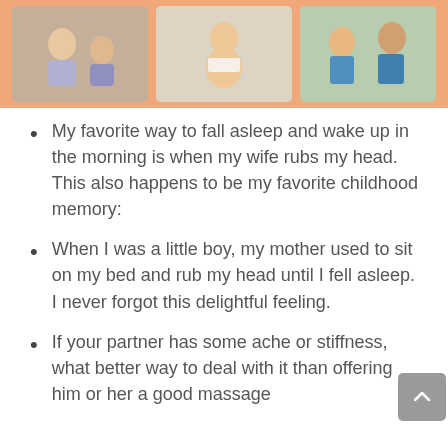[Figure (photo): Three photos arranged in a horizontal strip with an orange background: a couple sitting together, a pregnant woman, and people interacting outdoors.]
My favorite way to fall asleep and wake up in the morning is when my wife rubs my head. This also happens to be my favorite childhood memory:
When I was a little boy, my mother used to sit on my bed and rub my head until I fell asleep. I never forgot this delightful feeling.
If your partner has some ache or stiffness, what better way to deal with it than offering him or her a good massage